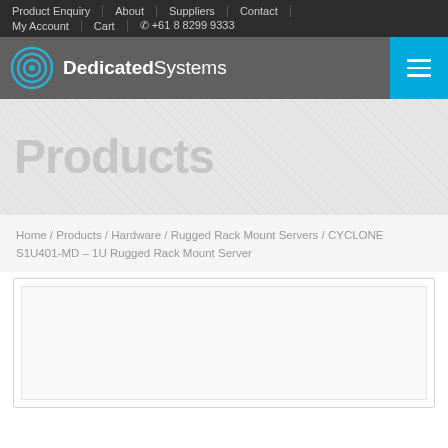Product Enquiry | About | Suppliers | Contact | My Account | Cart | +61 8 8299 9333
[Figure (logo): DedicatedSystems logo with concentric circles icon and hamburger menu button]
[Figure (illustration): Hero banner area with large faded watermark text]
Home / Products / Hardware / Rugged Rack Mount Servers / CYCLONE S1U401-MD – 1U Rugged Rack Mount Server
[Figure (photo): Product image box placeholder (white rectangle with border)]